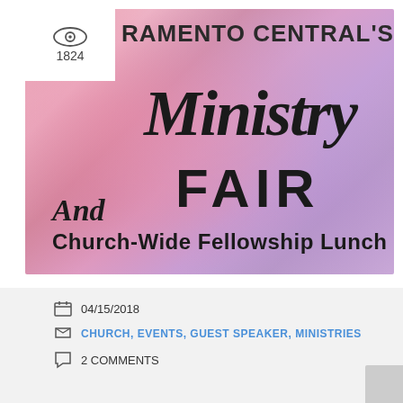[Figure (illustration): Sacramento Central's Ministry Fair and Church-Wide Fellowship Lunch promotional image with watercolor pink and purple background. Eye/view icon with count 1824 in top-left corner.]
04/15/2018
CHURCH, EVENTS, GUEST SPEAKER, MINISTRIES
2 COMMENTS